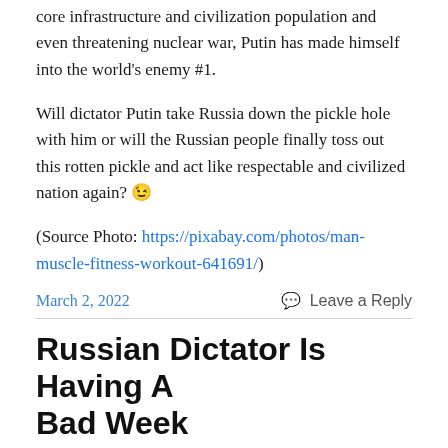core infrastructure and civilization population and even threatening nuclear war, Putin has made himself into the world's enemy #1.
Will dictator Putin take Russia down the pickle hole with him or will the Russian people finally toss out this rotten pickle and act like respectable and civilized nation again? 😉
(Source Photo: https://pixabay.com/photos/man-muscle-fitness-workout-641691/)
March 2, 2022   Leave a Reply
Russian Dictator Is Having A Bad Week